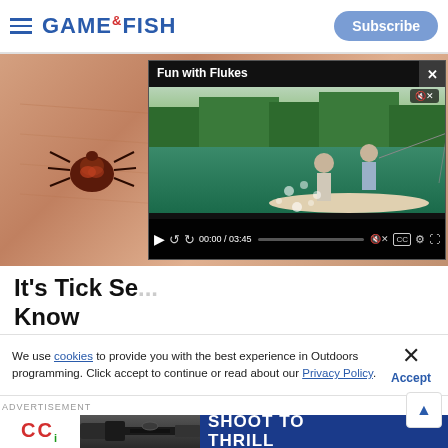GAME & FISH | Subscribe
[Figure (screenshot): Webpage screenshot showing Game & Fish website. Background shows a close-up of a tick on human skin on the left. On the right, a video overlay titled 'Fun with Flukes' shows two men fishing from a boat on a river. Video controls show timecode 00:00 / 03:45.]
It's Tick Se... Know
We use cookies to provide you with the best experience in Outdoors programming. Click accept to continue or read about our Privacy Policy.
Advertisement
[Figure (photo): CCI advertisement banner with red CCI logo on white background, gun/rifle imagery, and blue background with text 'SHOOT TO THRILL']